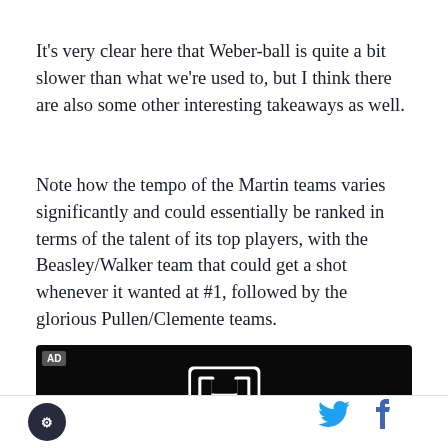It's very clear here that Weber-ball is quite a bit slower than what we're used to, but I think there are also some other interesting takeaways as well.
Note how the tempo of the Martin teams varies significantly and could essentially be ranked in terms of the talent of its top players, with the Beasley/Walker team that could get a shot whenever it wanted at #1, followed by the glorious Pullen/Clemente teams.
[Figure (logo): Honda advertisement with Honda H logo and HONDA text in white on black background]
Site logo on left, Twitter and Facebook social icons on right